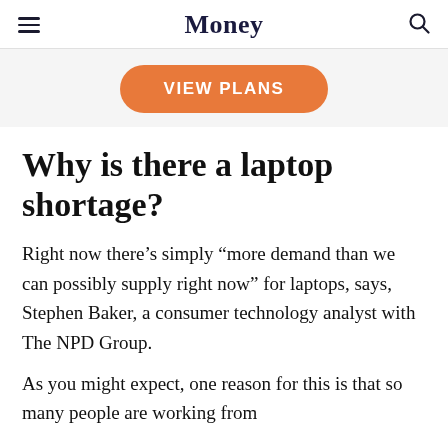Money
[Figure (other): VIEW PLANS orange button / advertisement banner]
Why is there a laptop shortage?
Right now there’s simply “more demand than we can possibly supply right now” for laptops, says, Stephen Baker, a consumer technology analyst with The NPD Group.
As you might expect, one reason for this is that so many people are working from